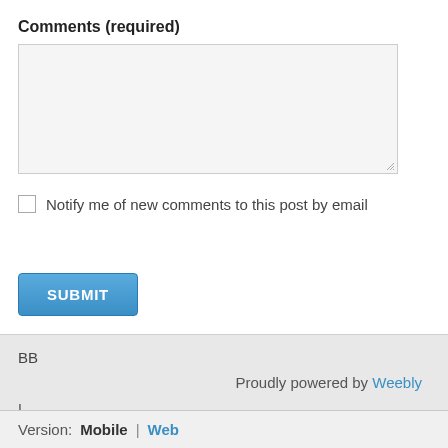Comments (required)
[Figure (screenshot): Empty textarea form field with light gray background and resize handle]
Notify me of new comments to this post by email
[Figure (screenshot): Blue SUBMIT button]
BB
Proudly powered by Weebly
|
Version: Mobile | Web